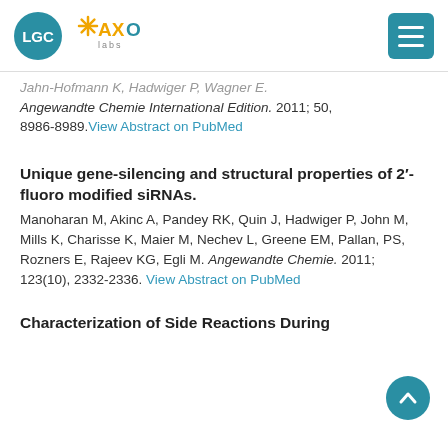LGC AXO labs [navigation header with hamburger menu]
Jahn-Hofmann K, Hadwiger P, Wagner E. Angewandte Chemie International Edition. 2011; 50, 8986-8989. View Abstract on PubMed
Unique gene-silencing and structural properties of 2′-fluoro modified siRNAs.
Manoharan M, Akinc A, Pandey RK, Quin J, Hadwiger P, John M, Mills K, Charisse K, Maier M, Nechev L, Greene EM, Pallan, PS, Rozners E, Rajeev KG, Egli M. Angewandte Chemie. 2011; 123(10), 2332-2336. View Abstract on PubMed
Characterization of Side Reactions During